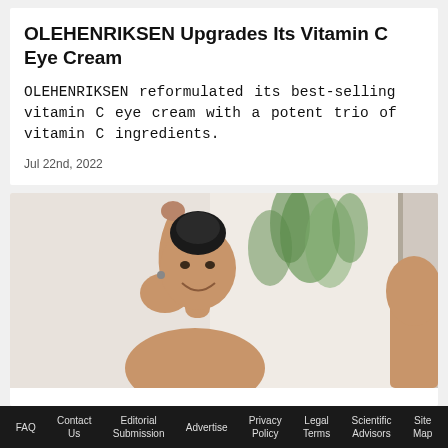OLEHENRIKSEN Upgrades Its Vitamin C Eye Cream
OLEHENRIKSEN reformulated its best-selling vitamin C eye cream with a potent trio of vitamin C ingredients.
Jul 22nd, 2022
[Figure (photo): A woman with dark hair in a bun smiling and raising her arm, in a bright room with plants in the background]
FAQ  Contact Us  Editorial Submission  Advertise  Privacy Policy  Legal Terms  Scientific Advisors  Site Map